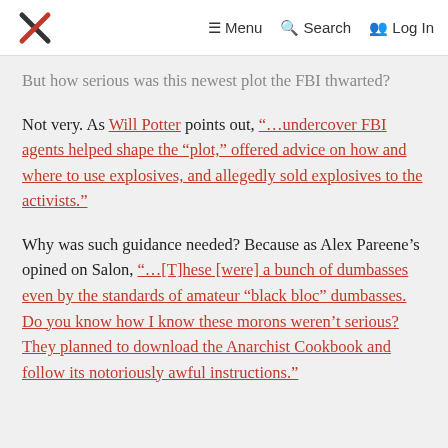Menu  Search  Log In
But how serious was this newest plot the FBI thwarted?
Not very. As Will Potter points out, “…undercover FBI agents helped shape the “plot,” offered advice on how and where to use explosives, and allegedly sold explosives to the activists.”
Why was such guidance needed? Because as Alex Pareene’s opined on Salon, “…[T]hese [were] a bunch of dumbasses even by the standards of amateur “black bloc” dumbasses. Do you know how I know these morons weren’t serious? They planned to download the Anarchist Cookbook and follow its notoriously awful instructions.”